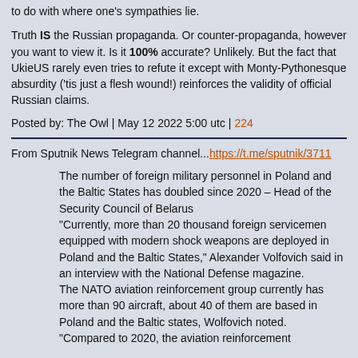to do with where one's sympathies lie.
Truth IS the Russian propaganda. Or counter-propaganda, however you want to view it. Is it 100% accurate? Unlikely. But the fact that UkieUS rarely even tries to refute it except with Monty-Pythonesque absurdity ('tis just a flesh wound!) reinforces the validity of official Russian claims.
Posted by: The Owl | May 12 2022 5:00 utc | 224
From Sputnik News Telegram channel...https://t.me/sputnik/3711
The number of foreign military personnel in Poland and the Baltic States has doubled since 2020 – Head of the Security Council of Belarus
"Currently, more than 20 thousand foreign servicemen equipped with modern shock weapons are deployed in Poland and the Baltic States," Alexander Volfovich said in an interview with the National Defense magazine.
The NATO aviation reinforcement group currently has more than 90 aircraft, about 40 of them are based in Poland and the Baltic states, Wolfovich noted.
"Compared to 2020, the aviation reinforcement